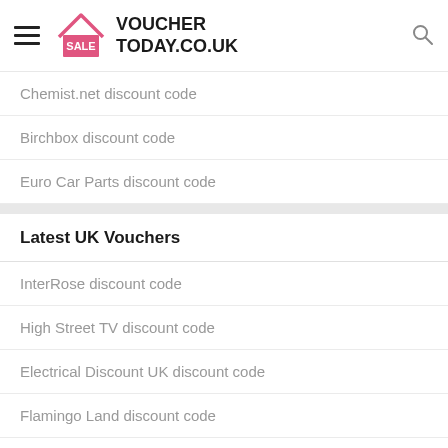VOUCHER TODAY.CO.UK
Chemist.net discount code
Birchbox discount code
Euro Car Parts discount code
Latest UK Vouchers
InterRose discount code
High Street TV discount code
Electrical Discount UK discount code
Flamingo Land discount code
Fitness Superstore discount code
Diamonds Factory discount code
Alexander Francis discount code
Insurance2go discount code